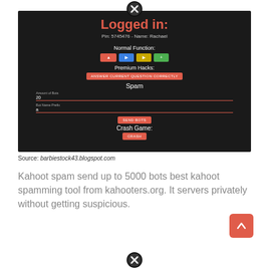[Figure (screenshot): Screenshot of a Kahoot hack tool interface showing 'Logged in: Pin: 5745476 - Name: Rachael' with Normal Function buttons (red, blue, yellow, green), Premium Hacks section with 'ANSWER CURRENT QUESTION CORRECTLY' button, Spam section with Amount of Bots (20) and Bot Name Prefix (a) fields and SEND BOTS button, and Crash Game section with CRASH button. Dark background.]
Source: barbiestock43.blogspot.com
Kahoot spam send up to 5000 bots best kahoot spamming tool from kahooters.org. It servers privately without getting suspicious.